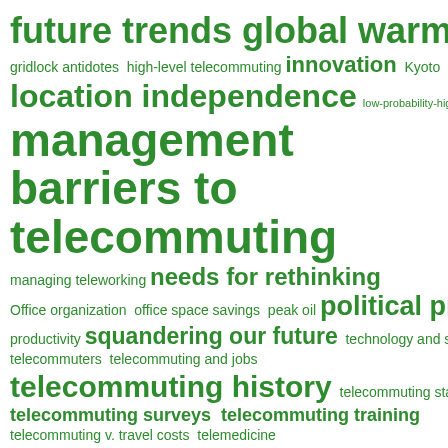[Figure (infographic): Word cloud about telecommuting and telework topics, all terms in green on white background. Larger text indicates higher prominence/frequency. Terms include: future trends, global warming, gridlock antidotes, high-level telecommuting, innovation, Kyoto, location independence, low-probability-high-impact events, management barriers to telecommuting, managing teleworking, needs for rethinking, Office organization, office space savings, peak oil, political pressure, productivity, squandering our future, technology and society, telecommuters, telecommuting and jobs, telecommuting history, telecommuting statistics, telecommuting surveys, telecommuting training, telecommuting v. travel costs, telemedicine, telework/telecommuting definitions, telework and disaster preparedness, teleworkers, telework management, the importance of focus, urban structure.]